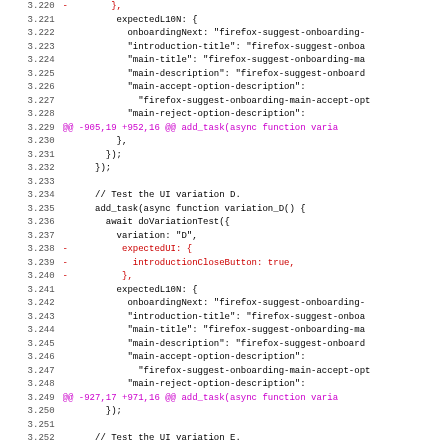[Figure (screenshot): Code diff view showing lines 3.220 to 3.251 of a JavaScript test file. Contains code with line numbers on left, red lines for deletions, magenta lines for diff hunk headers, and black lines for context. Shows add_task calls with variation tests (D) including expectedUI and expectedL10N blocks with firefox-suggest-onboarding strings.]